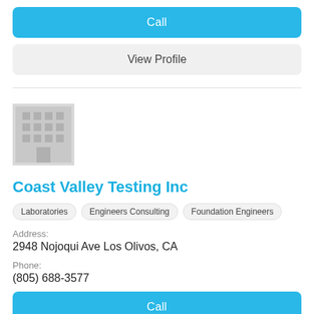Call
View Profile
[Figure (illustration): Generic building/company placeholder icon - grey square with grid of windows and a door]
Coast Valley Testing Inc
Laboratories
Engineers Consulting
Foundation Engineers
Address:
2948 Nojoqui Ave Los Olivos, CA
Phone:
(805) 688-3577
Call
View Profile